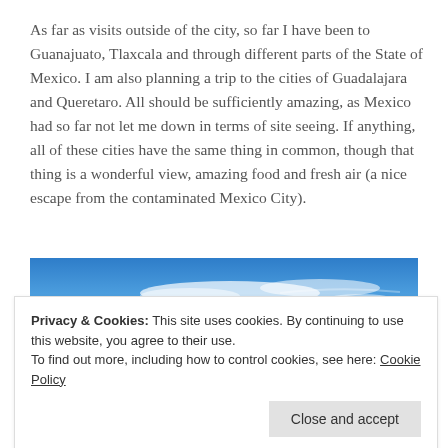As far as visits outside of the city, so far I have been to Guanajuato, Tlaxcala and through different parts of the State of Mexico. I am also planning a trip to the cities of Guadalajara and Queretaro. All should be sufficiently amazing, as Mexico had so far not let me down in terms of site seeing. If anything, all of these cities have the same thing in common, though that thing is a wonderful view, amazing food and fresh air (a nice escape from the contaminated Mexico City).
[Figure (photo): Blue sky with wispy white clouds, panoramic view]
[Figure (photo): Colorful cityscape with buildings, partial view at bottom]
Privacy & Cookies: This site uses cookies. By continuing to use this website, you agree to their use.
To find out more, including how to control cookies, see here: Cookie Policy